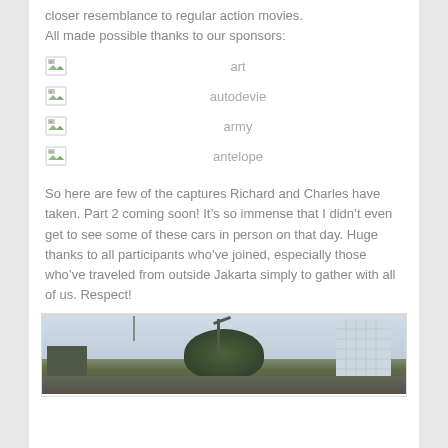closer resemblance to regular action movies.
All made possible thanks to our sponsors:
[Figure (other): Broken image icon placeholder for sponsor 'art']
[Figure (other): Broken image icon placeholder for sponsor 'autodevie']
[Figure (other): Broken image icon placeholder for sponsor 'army']
[Figure (other): Broken image icon placeholder for sponsor 'antelope']
So here are few of the captures Richard and Charles have taken. Part 2 coming soon! It’s so immense that I didn’t even get to see some of these cars in person on that day. Huge thanks to all participants who’ve joined, especially those who’ve traveled from outside Jakarta simply to gather with all of us. Respect!
[Figure (photo): Outdoor photograph showing trees, a street lamp, and a glass-facade building in Jakarta]